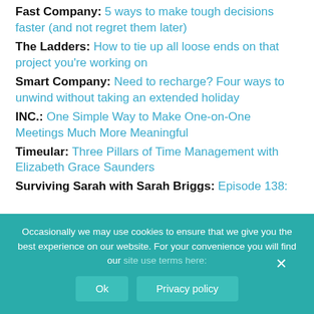Fast Company: 5 ways to make tough decisions faster (and not regret them later)
The Ladders: How to tie up all loose ends on that project you're working on
Smart Company: Need to recharge? Four ways to unwind without taking an extended holiday
INC.: One Simple Way to Make One-on-One Meetings Much More Meaningful
Timeular: Three Pillars of Time Management with Elizabeth Grace Saunders
Surviving Sarah with Sarah Briggs: Episode 138:
Occasionally we may use cookies to ensure that we give you the best experience on our website. For your convenience you will find our site use terms here:
Ok | Privacy policy